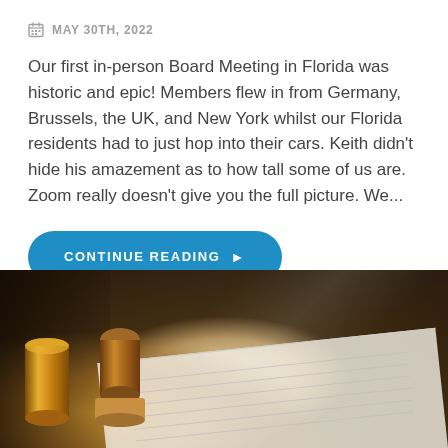MAY 30TH, 2022
Our first in-person Board Meeting in Florida was historic and epic! Members flew in from Germany, Brussels, the UK, and New York whilst our Florida residents had to just hop into their cars. Keith didn't hide his amazement as to how tall some of us are. Zoom really doesn't give you the full picture. We...
CONTINUE READING ▶
[Figure (photo): Close-up photo of rubber stamps (a cylindrical gold stamp on the left and a wooden-handled stamp in the center) resting on a document with printed text, on a dark wooden surface.]